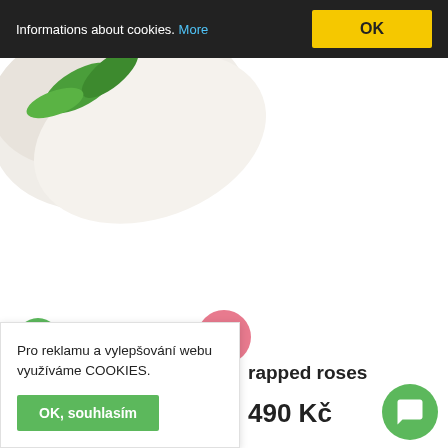Informations about cookies. More  OK
[Figure (photo): A flower bouquet of white-wrapped roses with green stems and raffia tie, photographed from above against a white background, showing the lower stems and wrapping.]
Pro reklamu a vylepšování webu využíváme COOKIES.
OK, souhlasím
rapped roses
490 Kč